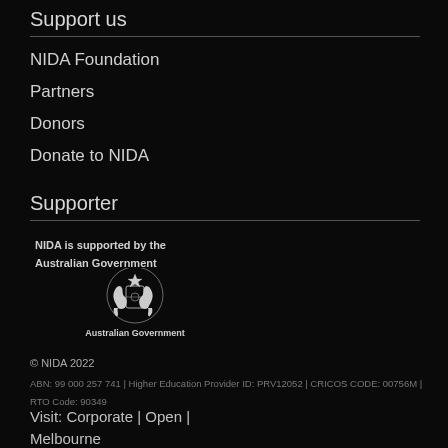Support us
NIDA Foundation
Partners
Donors
Donate to NIDA
Supporter
NIDA is supported by the Australian Government
[Figure (logo): Australian Government coat of arms logo with kangaroo and emu, text reads 'Australian Government']
© NIDA 2022
ABN: 99 000 257 741 | Higher Education Provider ID: PRV12052 | CRICOS CODE: 00756M | RTO Code: 90349
Visit: Corporate | Open | Melbourne